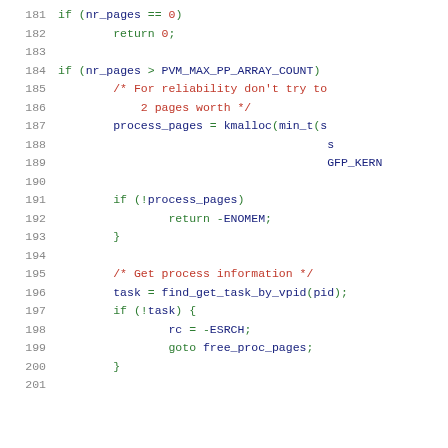181    if (nr_pages == 0)
182        return 0;
183
184    if (nr_pages > PVM_MAX_PP_ARRAY_COUNT)
185        /* For reliability don't try to
186            2 pages worth */
187        process_pages = kmalloc(min_t(s
188                                       s
189                                       GFP_KERN
190
191        if (!process_pages)
192            return -ENOMEM;
193    }
194
195    /* Get process information */
196    task = find_get_task_by_vpid(pid);
197    if (!task) {
198        rc = -ESRCH;
199        goto free_proc_pages;
200    }
201